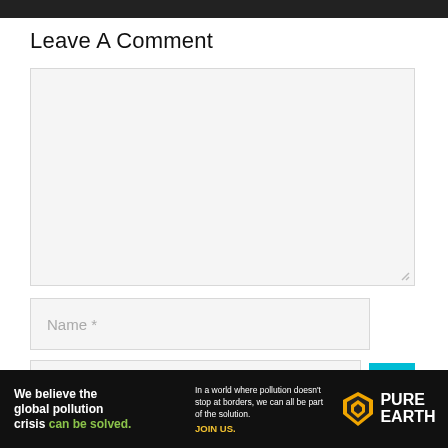Leave A Comment
[Figure (screenshot): Empty comment textarea input box with light gray background and resize handle at bottom right]
[Figure (screenshot): Name input field with placeholder text 'Name *' in gray]
[Figure (screenshot): Partial email input field with cyan/teal submit button on right showing upward arrow]
[Figure (infographic): Pure Earth advertisement banner with dark background. Left side: 'We believe the global pollution crisis can be solved.' in white and green text. Middle: 'In a world where pollution doesn't stop at borders, we can all be part of the solution. JOIN US.' Right side: Pure Earth logo with diamond/arrow icon and PURE EARTH text in white.]